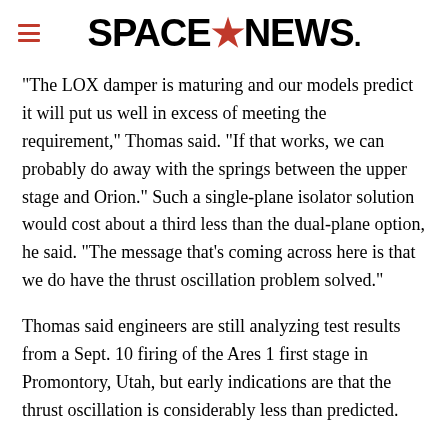SPACENEWS
“The LOX damper is maturing and our models predict it will put us well in excess of meeting the requirement,” Thomas said. “If that works, we can probably do away with the springs between the upper stage and Orion.” Such a single-plane isolator solution would cost about a third less than the dual-plane option, he said. “The message that’s coming across here is that we do have the thrust oscillation problem solved.”
Thomas said engineers are still analyzing test results from a Sept. 10 firing of the Ares 1 first stage in Promontory, Utah, but early indications are that the thrust oscillation is considerably less than predicted.
“Surprisingly, the motor was very quiet,” Thomas said.